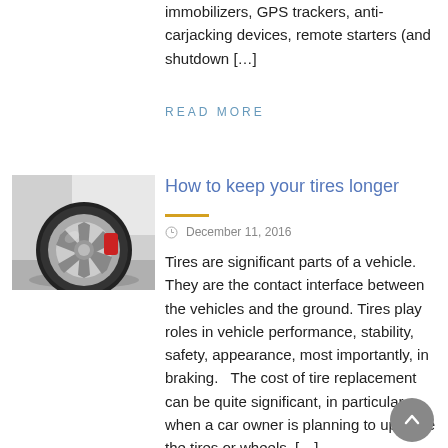immobilizers, GPS trackers, anti-carjacking devices, remote starters (and shutdown […]
READ MORE
[Figure (photo): Close-up photo of a car wheel with a silver multi-spoke rim and red brake caliper]
How to keep your tires longer
December 11, 2016
Tires are significant parts of a vehicle. They are the contact interface between the vehicles and the ground. Tires play roles in vehicle performance, stability, safety, appearance, most importantly, in braking.   The cost of tire replacement can be quite significant, in particular when a car owner is planning to upgrade the tires or wheels. […]